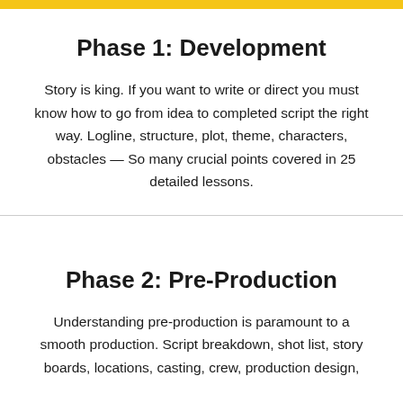Phase 1: Development
Story is king. If you want to write or direct you must know how to go from idea to completed script the right way. Logline, structure, plot, theme, characters, obstacles — So many crucial points covered in 25 detailed lessons.
Phase 2: Pre-Production
Understanding pre-production is paramount to a smooth production. Script breakdown, shot list, story boards, locations, casting, crew, production design,